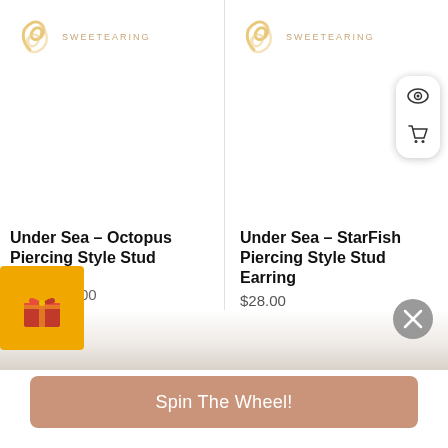[Figure (screenshot): E-commerce product listing screenshot showing two earring products from SWEETEARING brand on a white background with action icons (eye and cart) on the right side of each product card.]
Under Sea - Octopus Piercing Style Stud Earring
$28.00
Under Sea - StarFish Piercing Style Stud Earring
$28.00
Spin The Wheel!